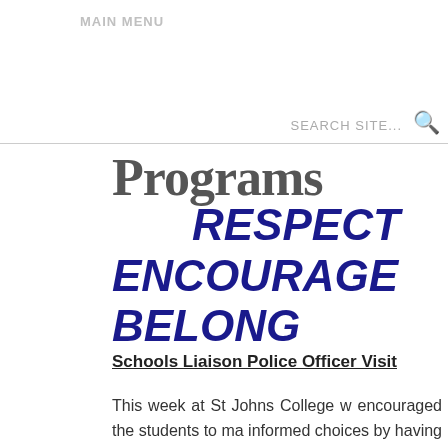MAIN MENU
SEARCH SITE...
Programs
RESPECT
ENCOURAGE
BELONG
Schools Liaison Police Officer Visit
This week at St Johns College w encouraged the students to ma informed choices by having Seni Constable Martin Paice in to spe about respectful interactions person and online.